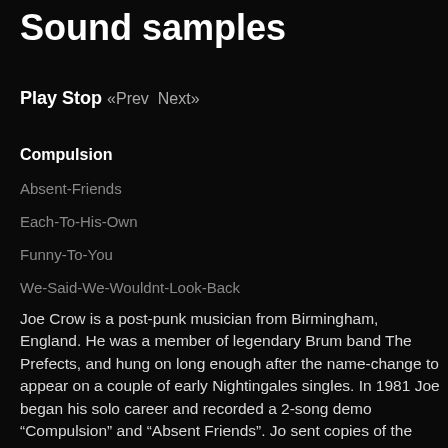Sound samples
Play Stop «Prev Next»
Compulsion
Absent-Friends
Each-To-His-Own
Funny-To-You
We-Said-We-Wouldnt-Look-Back
Joe Crow is a post-punk musician from Birmingham, England. He was a member of legendary Brum band The Prefects, and hung on long enough after the name-change to appear on a couple of early Nightingales singles. In 1981 Joe began his solo career and recorded a 2-song demo “Compulsion” and “Absent Friends”. Jo sent copies of the finished recordings to Cherry Red, who thanks to Lawrence of Felt, ended up releasing the single in 1982. An